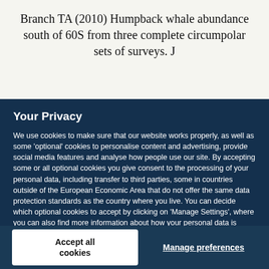Branch TA (2010) Humpback whale abundance south of 60S from three complete circumpolar sets of surveys. J
Your Privacy
We use cookies to make sure that our website works properly, as well as some 'optional' cookies to personalise content and advertising, provide social media features and analyse how people use our site. By accepting some or all optional cookies you give consent to the processing of your personal data, including transfer to third parties, some in countries outside of the European Economic Area that do not offer the same data protection standards as the country where you live. You can decide which optional cookies to accept by clicking on 'Manage Settings', where you can also find more information about how your personal data is processed. Further information can be found in our privacy policy.
Accept all cookies
Manage preferences